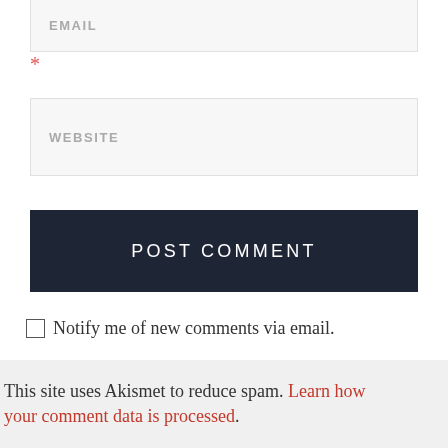EMAIL
*
WEBSITE
POST COMMENT
Notify me of new comments via email.
Notify me of new posts via email.
This site uses Akismet to reduce spam. Learn how your comment data is processed.